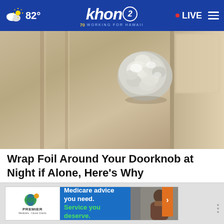82° khon2 WORKING FOR HAWAII • LIVE
[Figure (photo): Close-up photo of a door knob wrapped in aluminum foil, against a wooden door background]
Wrap Foil Around Your Doorknob at Night if Alone, Here's Why
Sogoodly
[Figure (screenshot): Advertisement banner: Premier Medicare - Medicare advice you need. Service you deserve.]